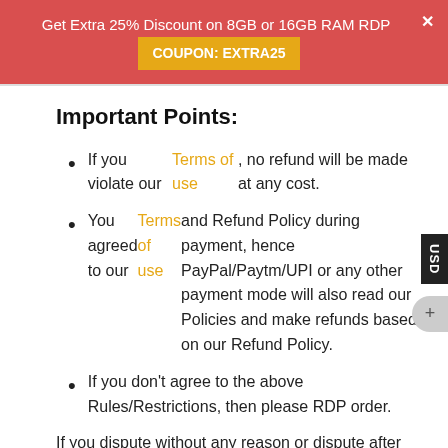Get Extra 25% Discount on 8GB or 16GB RAM RDP  COUPON: EXTRA25
Important Points:
If you violate our Terms of use, no refund will be made at any cost.
You agreed to our Terms of use and Refund Policy during payment, hence PayPal/Paytm/UPI or any other payment mode will also read our Policies and make refunds based on our Refund Policy.
If you don't agree to the above Rules/Restrictions, then please RDP order.
If you dispute without any reason or dispute after